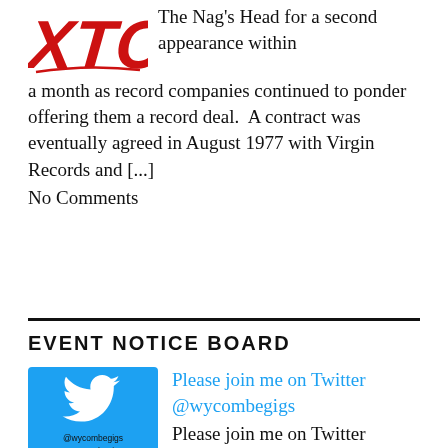[Figure (logo): XTC band logo in red stylized lettering]
The Nag's Head for a second appearance within a month as record companies continued to ponder offering them a record deal. A contract was eventually agreed in August 1977 with Virgin Records and [...]
No Comments
EVENT NOTICE BOARD
[Figure (screenshot): Twitter bird logo on blue background with @wycombegigs and #wycombegigs text]
Please join me on Twitter @wycombegigs Please join me on Twitter @wycombegigs I launched the @wycombegigs